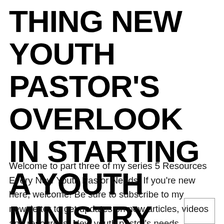THING NEW YOUTH PASTOR'S OVERLOOK IN STARTING A YOUTH MINISTRY
Welcome to part three of my series 5 Resources Every New Youth Pastor Needs. If you're new here, welcome! Be sure to subscribe to my newsletter to get updates on new articles, videos and resources. New youth pastor's needs discipleship plan I knew the word discipleship, but I was so new to youth